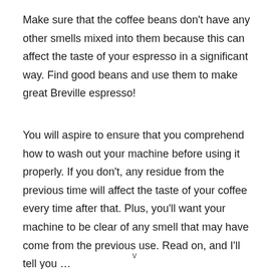Make sure that the coffee beans don't have any other smells mixed into them because this can affect the taste of your espresso in a significant way. Find good beans and use them to make great Breville espresso!
You will aspire to ensure that you comprehend how to wash out your machine before using it properly. If you don't, any residue from the previous time will affect the taste of your coffee every time after that. Plus, you'll want your machine to be clear of any smell that may have come from the previous use. Read on, and I'll tell you …
v